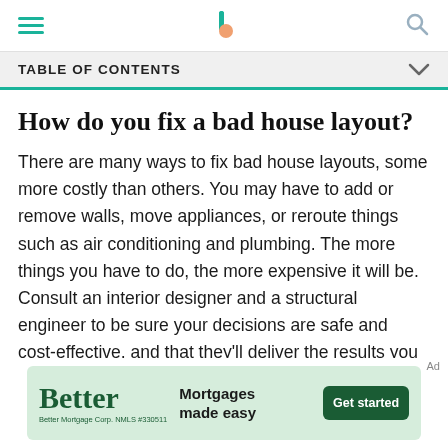TABLE OF CONTENTS
How do you fix a bad house layout?
There are many ways to fix bad house layouts, some more costly than others. You may have to add or remove walls, move appliances, or reroute things such as air conditioning and plumbing. The more things you have to do, the more expensive it will be. Consult an interior designer and a structural engineer to be sure your decisions are safe and cost-effective, and that they'll deliver the results you hoped for.
[Figure (screenshot): Better Mortgage advertisement banner with teal logo, tagline 'Mortgages made easy' and green 'Get started' button. Footer text: Better Mortgage Corp. NMLS #330511]